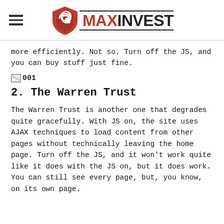MAXINVEST
more efficiently. Not so. Turn off the JS, and you can buy stuff just fine.
[Figure (other): Broken image placeholder labeled '001']
2. The Warren Trust
The Warren Trust is another one that degrades quite gracefully. With JS on, the site uses AJAX techniques to load content from other pages without technically leaving the home page. Turn off the JS, and it won't work quite like it does with the JS on, but it does work. You can still see every page, but, you know, on its own page.